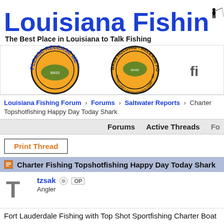[Figure (logo): Louisiana Fishing Forum logo with fisherman silhouette and bold blue text reading 'Louisiana Fishin' (cropped)]
The Best Place in Louisiana to Talk Fishing
[Figure (photo): Banner ad showing two circular orange fishing product labels: 'Please Release Me' and 'Bass Holding - Release Formula' by Sure-Life Laboratories]
Louisiana Fishing Forum > Forums > Saltwater Reports > Charter Fishing Topshotfishing Happy Day Today Shark
Forums   Active Threads   Fo
Print Thread
Charter Fishing Topshotfishing Happy Day Today Shark
tzsak OP
Angler
Fort Lauderdale Fishing with Top Shot Sportfishing Charter Boat